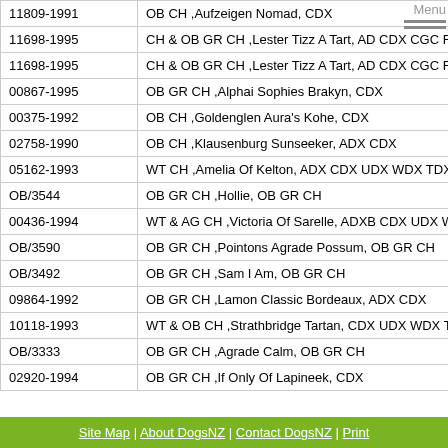| ID | Name/Title |
| --- | --- |
| 11809-1991 | OB CH ,Aufzeigen Nomad, CDX |
| 11698-1995 | CH & OB GR CH ,Lester Tizz A Tart, AD CDX CGC R |
| 11698-1995 | CH & OB GR CH ,Lester Tizz A Tart, AD CDX CGC R |
| 00867-1995 | OB GR CH ,Alphai Sophies Brakyn, CDX |
| 00375-1992 | OB CH ,Goldenglen Aura's Kohe, CDX |
| 02758-1990 | OB CH ,Klausenburg Sunseeker, ADX CDX |
| 05162-1993 | WT CH ,Amelia Of Kelton, ADX CDX UDX WDX TDX |
| OB/3544 | OB GR CH ,Hollie, OB GR CH |
| 00436-1994 | WT & AG CH ,Victoria Of Sarelle, ADXB CDX UDX W |
| OB/3590 | OB GR CH ,Pointons Agrade Possum, OB GR CH |
| OB/3492 | OB GR CH ,Sam I Am, OB GR CH |
| 09864-1992 | OB GR CH ,Lamon Classic Bordeaux, ADX CDX |
| 10118-1993 | WT & OB CH ,Strathbridge Tartan, CDX UDX WDX T |
| OB/3333 | OB GR CH ,Agrade Calm, OB GR CH |
| 02920-1994 | OB GR CH ,If Only Of Lapineek, CDX |
Site Map | About DogsNZ | Contact DogsNZ | Print